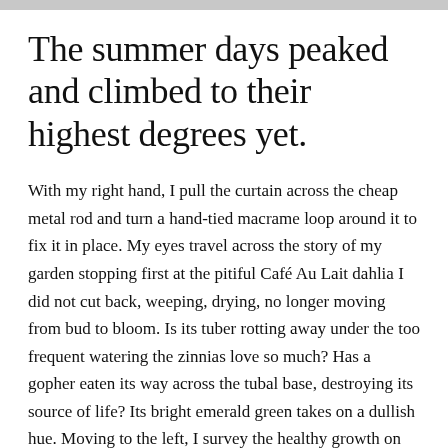The summer days peaked and climbed to their highest degrees yet.
With my right hand, I pull the curtain across the cheap metal rod and turn a hand-tied macrame loop around it to fix it in place. My eyes travel across the story of my garden stopping first at the pitiful Café Au Lait dahlia I did not cut back, weeping, drying, no longer moving from bud to bloom. Is its tuber rotting away under the too frequent watering the zinnias love so much? Has a gopher eaten its way across the tubal base, destroying its source of life? Its bright emerald green takes on a dullish hue. Moving to the left, I survey the healthy growth on the dahlias I cut back. These are still alive. These have not been eaten. The new